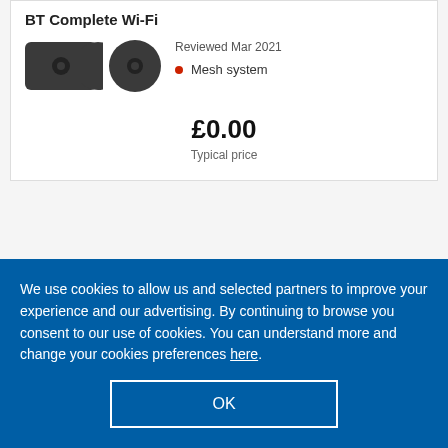BT Complete Wi-Fi
Reviewed Mar 2021
Mesh system
£0.00
Typical price
We use cookies to allow us and selected partners to improve your experience and our advertising. By continuing to browse you consent to our use of cookies. You can understand more and change your cookies preferences here.
OK